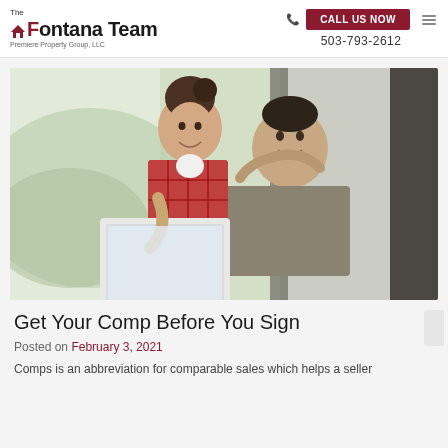The Fontana Team — Premiere Property Group, LLC | CALL US NOW | 503-793-2612
[Figure (photo): A smiling couple looking at a laptop together in a bright room. The woman is wearing a red plaid shirt and the man is wearing a gray t-shirt.]
Get Your Comp Before You Sign
Posted on February 3, 2021
Comps is an abbreviation for comparable sales which helps a seller